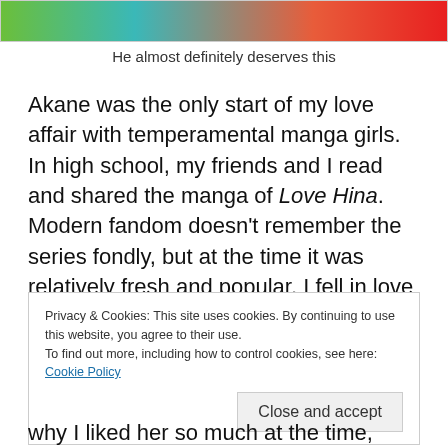[Figure (illustration): Cropped manga/comic illustration strip showing colorful characters — green, teal, and red tones visible]
He almost definitely deserves this
Akane was the only start of my love affair with temperamental manga girls. In high school, my friends and I read and shared the manga of Love Hina. Modern fandom doesn’t remember the series fondly, but at the time it was relatively fresh and popular. I fell in love enough with the characters enough that I
Privacy & Cookies: This site uses cookies. By continuing to use this website, you agree to their use.
To find out more, including how to control cookies, see here: Cookie Policy
why I liked her so much at the time, other